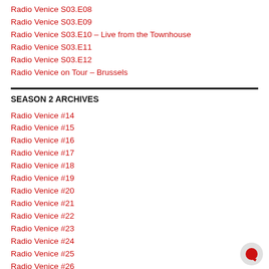Radio Venice S03.E08
Radio Venice S03.E09
Radio Venice S03.E10 – Live from the Townhouse
Radio Venice S03.E11
Radio Venice S03.E12
Radio Venice on Tour – Brussels
SEASON 2 ARCHIVES
Radio Venice #14
Radio Venice #15
Radio Venice #16
Radio Venice #17
Radio Venice #18
Radio Venice #19
Radio Venice #20
Radio Venice #21
Radio Venice #22
Radio Venice #23
Radio Venice #24
Radio Venice #25
Radio Venice #26
Radio Venice on Tour – Australia